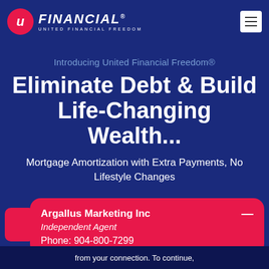[Figure (logo): uFinancial - United Financial Freedom logo with red circle containing italic U and FINANCIAL text in white on dark blue background, with hamburger menu icon top right]
Introducing United Financial Freedom®
Eliminate Debt & Build Life-Changing Wealth...
Mortgage Amortization with Extra Payments, No Lifestyle Changes
Argallus Marketing Inc
Independent Agent
Phone: 904-800-7299
from your connection. To continue,